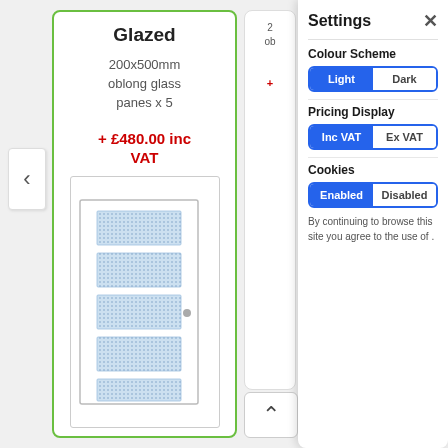[Figure (screenshot): Left navigation arrow button pointing left]
Glazed
200x500mm oblong glass panes x 5
+ £480.00 inc VAT
[Figure (illustration): Door illustration with 5 rectangular glazed glass pane panels arranged vertically, door handle on right side]
[Figure (screenshot): Settings panel overlay with Colour Scheme, Pricing Display, and Cookies toggles]
Settings
Colour Scheme
Light | Dark
Pricing Display
Inc VAT | Ex VAT
Cookies
Enabled | Disabled
By continuing to browse this site you agree to the use of .